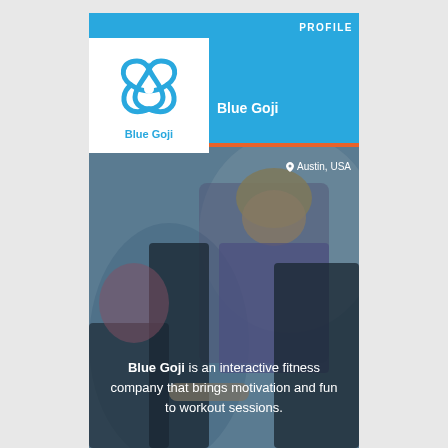PROFILE
[Figure (logo): Blue Goji logo — stylized interlocking loops in blue with 'Blue Goji' text beneath]
Blue Goji
[Figure (photo): Photo of people using exercise/fitness equipment in a gym setting; man in plaid shirt and yellow cap smiling; child visible on left]
Austin, USA
Blue Goji is an interactive fitness company that brings motivation and fun to workout sessions.